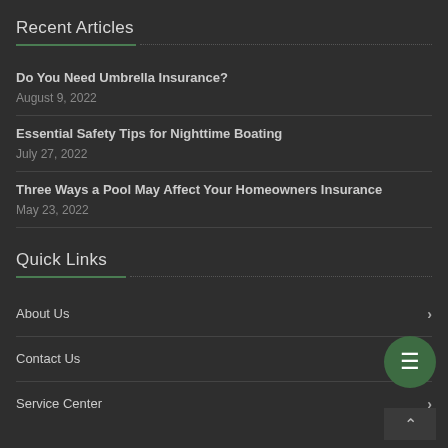Recent Articles
Do You Need Umbrella Insurance?
August 9, 2022
Essential Safety Tips for Nighttime Boating
July 27, 2022
Three Ways a Pool May Affect Your Homeowners Insurance
May 23, 2022
Quick Links
About Us
Contact Us
Service Center